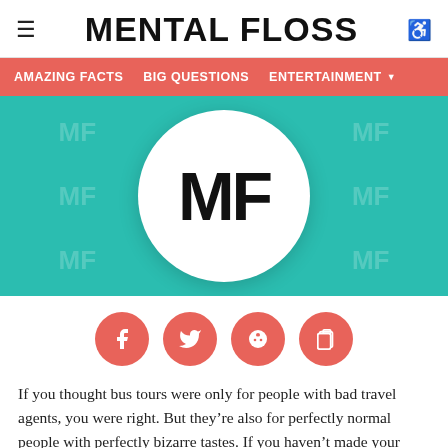≡  MENTAL FLOSS  ♿
AMAZING FACTS   BIG QUESTIONS   ENTERTAINMENT ▼
[Figure (logo): Mental Floss logo: white circle with bold black MF letters on a teal background patterned with semi-transparent MF watermarks]
[Figure (infographic): Row of four coral/red-orange circular social media buttons: Facebook (f), Twitter (bird), Reddit (alien), and a copy/clipboard icon]
If you thought bus tours were only for people with bad travel agents, you were right. But they're also for perfectly normal people with perfectly bizarre tastes. If you haven't made your